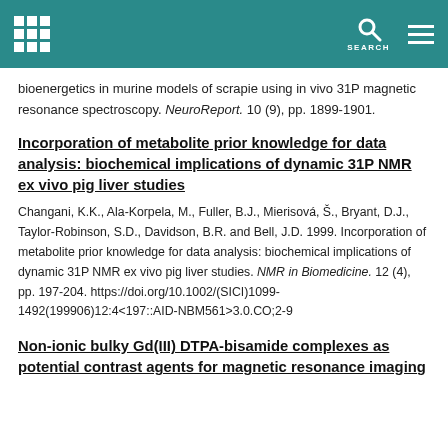SEARCH
bioenergetics in murine models of scrapie using in vivo 31P magnetic resonance spectroscopy. NeuroReport. 10 (9), pp. 1899-1901.
Incorporation of metabolite prior knowledge for data analysis: biochemical implications of dynamic 31P NMR ex vivo pig liver studies
Changani, K.K., Ala-Korpela, M., Fuller, B.J., Mierisová, Š., Bryant, D.J., Taylor-Robinson, S.D., Davidson, B.R. and Bell, J.D. 1999. Incorporation of metabolite prior knowledge for data analysis: biochemical implications of dynamic 31P NMR ex vivo pig liver studies. NMR in Biomedicine. 12 (4), pp. 197-204. https://doi.org/10.1002/(SICI)1099-1492(199906)12:4<197::AID-NBM561>3.0.CO;2-9
Non-ionic bulky Gd(III) DTPA-bisamide complexes as potential contrast agents for magnetic resonance imaging